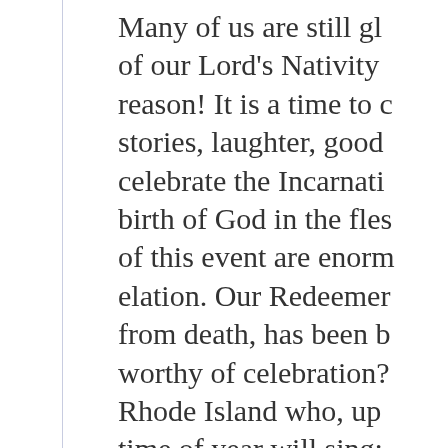Many of us are still gl of our Lord's Nativity reason! It is a time to c stories, laughter, good celebrate the Incarnati birth of God in the fles of this event are enorm elation. Our Redeemer from death, has been b worthy of celebration? Rhode Island who, up time of year will sing: at the coming of Our L
On the day of Nativity Gospel tells us about t offering them to the C